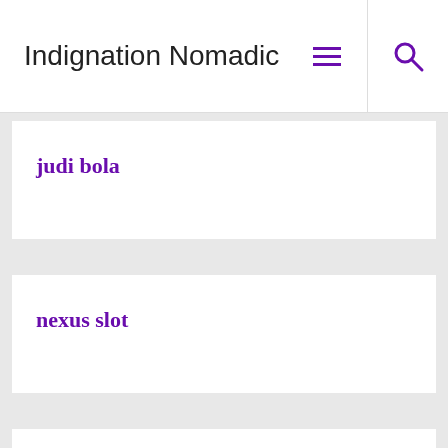Indignation Nomadic
judi bola
nexus slot
satta king 786